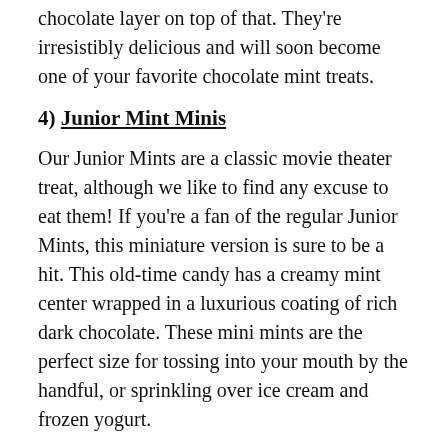chocolate layer on top of that. They're irresistibly delicious and will soon become one of your favorite chocolate mint treats.
4) Junior Mint Minis
Our Junior Mints are a classic movie theater treat, although we like to find any excuse to eat them! If you're a fan of the regular Junior Mints, this miniature version is sure to be a hit. This old-time candy has a creamy mint center wrapped in a luxurious coating of rich dark chocolate. These mini mints are the perfect size for tossing into your mouth by the handful, or sprinkling over ice cream and frozen yogurt.
5) Chocolate Mint Coffee
At Nuts.com, we're a big fan of flavored coffees, so it's no surprise that we fell head-over-heels for this